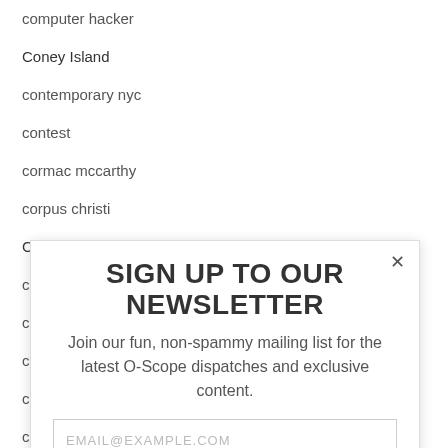computer hacker
Coney Island
contemporary nyc
contest
cormac mccarthy
corpus christi
Cotton Comes to Harlem
counterculture
cover band
cover songs
crazy ex girlfriend
crimes and misdemeanors
criterion
criterion collection
criticism
cruising
cruising film
cult classic
SIGN UP TO OUR NEWSLETTER
Join our fun, non-spammy mailing list for the latest O-Scope dispatches and exclusive content.
EMAIL@EXAMPLE.COM
SUBSCRIBE